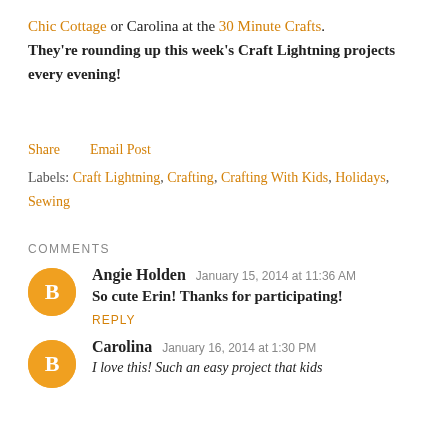Chic Cottage or Carolina at the 30 Minute Crafts. They're rounding up this week's Craft Lightning projects every evening!
Share   Email Post
Labels: Craft Lightning, Crafting, Crafting With Kids, Holidays, Sewing
COMMENTS
Angie Holden  January 15, 2014 at 11:36 AM
So cute Erin! Thanks for participating!
REPLY
Carolina  January 16, 2014 at 1:30 PM